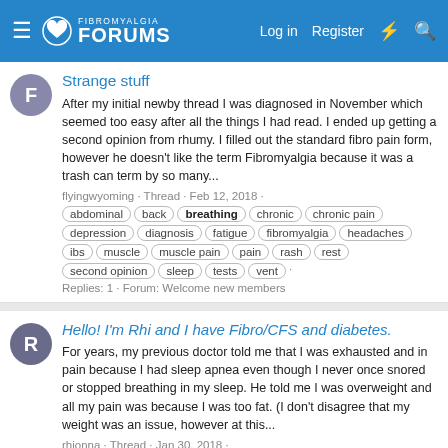FIBROMYALGIA FORUMS  Log in  Register
Strange stuff
After my initial newby thread I was diagnosed in November which seemed too easy after all the things I had read. I ended up getting a second opinion from rhumy. I filled out the standard fibro pain form, however he doesn't like the term Fibromyalgia because it was a trash can term by so many...
flyingwyoming · Thread · Feb 12, 2018 · abdominal  back  breathing  chronic  chronic pain  depression  diagnosis  fatigue  fibromyalgia  headaches  ibs  muscle  muscle pain  pain  rash  rest  second opinion  sleep  tests  vent
Replies: 1 · Forum: Welcome new members
Hello! I'm Rhi and I have Fibro/CFS and diabetes.
For years, my previous doctor told me that I was exhausted and in pain because I had sleep apnea even though I never once snored or stopped breathing in my sleep. He told me I was overweight and all my pain was because I was too fat. (I don't disagree that my weight was an issue, however at this...
rhionna · Thread · Jan 30, 2018 · artist  back  breathing  cfs